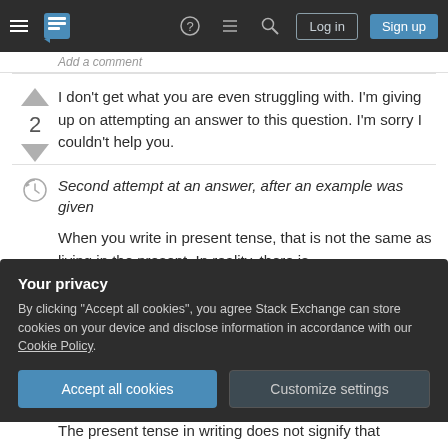Stack Exchange navigation bar with Log in and Sign up buttons
I don't get what you are even struggling with. I'm giving up on attempting an answer to this question. I'm sorry I couldn't help you.
Second attempt at an answer, after an example was given
When you write in present tense, that is not the same as living in the present. In reality, there is
Your privacy
By clicking "Accept all cookies", you agree Stack Exchange can store cookies on your device and disclose information in accordance with our Cookie Policy.
The present tense in writing does not signify that